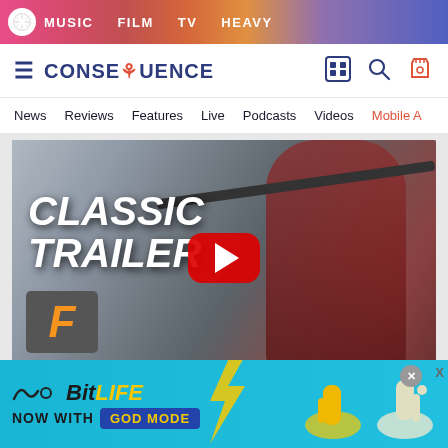MUSIC  FILM  TV  HEAVY
[Figure (logo): Consequence of Sound site logo with hamburger menu and nav icons]
News  Reviews  Features  Live  Podcasts  Videos  Mobile A
[Figure (screenshot): YouTube video embed showing Classic Trailer with a person in a red jacket on gym equipment, Fandango badge bottom left, red YouTube play button center]
09. Ben Wade